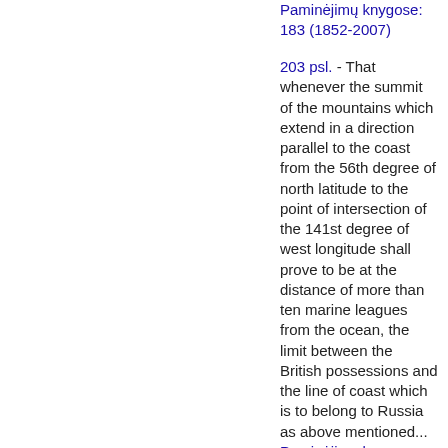Paminėjimų knygose: 183 (1852-2007)
203 psl. - That whenever the summit of the mountains which extend in a direction parallel to the coast from the 56th degree of north latitude to the point of intersection of the 141st degree of west longitude shall prove to be at the distance of more than ten marine leagues from the ocean, the limit between the British possessions and the line of coast which is to belong to Russia as above mentioned...
Paminėjimų knygose: 254 (1814-2005)